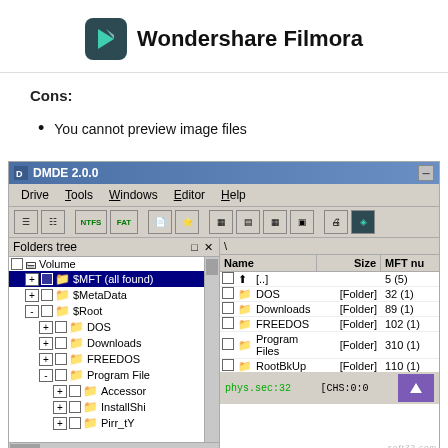[Figure (logo): Wondershare Filmora logo with teal icon and bold text]
Cons:
You cannot preview image files
[Figure (screenshot): Screenshot of DMDE 2.0.0 disk management software showing folder tree on left with $MFT, $MetaData, $Root, DOS, Downloads, FREEDOS, Program Files folders, and file list on right showing DOS, Downloads, FREEDOS, Program Files, RootBkUp entries with sizes and MFT numbers]